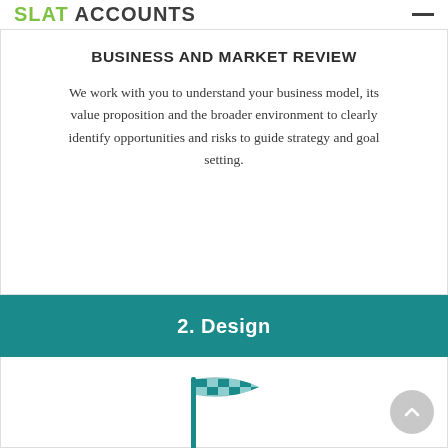SLAT ACCOUNTS
BUSINESS AND MARKET REVIEW
We work with you to understand your business model, its value proposition and the broader environment to clearly identify opportunities and risks to guide strategy and goal setting.
2. Design
[Figure (illustration): Teal checkered racing/finish flag icon]
STRATEGY AND GOAL SETTING